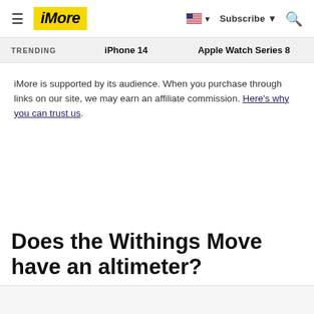iMore | Subscribe | Search
TRENDING   iPhone 14   Apple Watch Series 8
iMore is supported by its audience. When you purchase through links on our site, we may earn an affiliate commission. Here's why you can trust us.
Does the Withings Move have an altimeter?